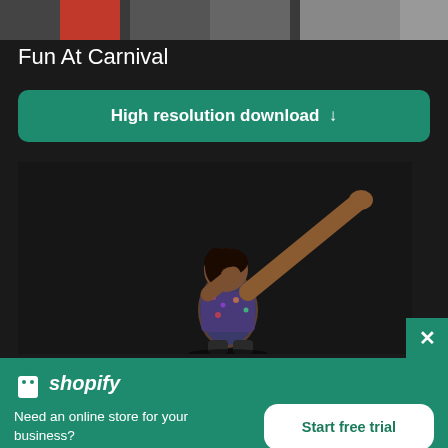[Figure (photo): Top portion of a photo showing a colorful scene, partially cropped at top of page]
Fun At Carnival
High resolution download ↓
[Figure (photo): Person doing a dab pose against a dark/black background]
[Figure (logo): Shopify logo with bag icon and italic shopify text]
Need an online store for your business?
Start free trial